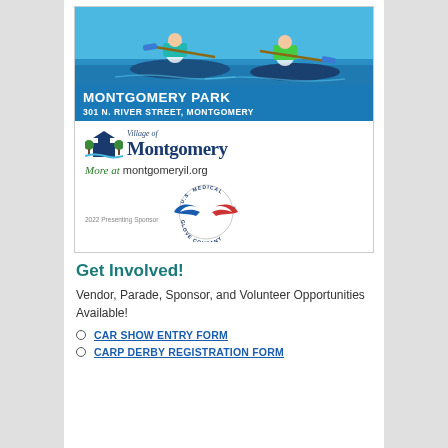[Figure (photo): Children kayaking at Montgomery Park, with a blue header band showing MONTGOMERY PARK name and address 301 N. RIVER STREET, MONTGOMERY]
[Figure (logo): Village of Montgomery logo with illustrated building and trees, text reading Village of Montgomery]
More at montgomeryil.org
2022 Presenting Sponsor
[Figure (logo): U.S. Medical Glove Company logo - circular text with blue and red glove/wing design]
Get Involved!
Vendor, Parade, Sponsor, and Volunteer Opportunities Available!
CAR SHOW ENTRY FORM
CARP DERBY REGISTRATION FORM